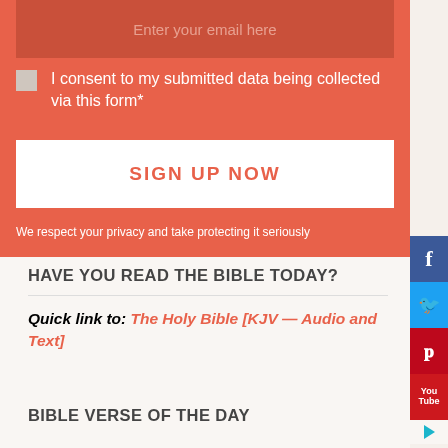Enter your email here
I consent to my submitted data being collected via this form*
SIGN UP NOW
We respect your privacy and take protecting it seriously
HAVE YOU READ THE BIBLE TODAY?
Quick link to: The Holy Bible [KJV — Audio and Text]
BIBLE VERSE OF THE DAY